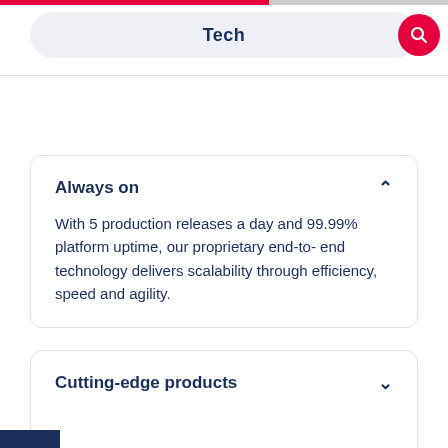Tech
Always on
With 5 production releases a day and 99.99% platform uptime, our proprietary end-to- end technology delivers scalability through efficiency, speed and agility.
Cutting-edge products